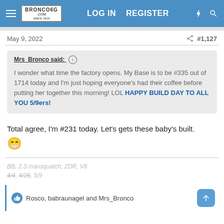Bronco6G.com — LOG IN  REGISTER
May 9, 2022  #1,127
Mrs_Bronco said: ↑
I wonder what time the factory opens. My Base is to be #335 out of 1714 today and I'm just hoping everyone's had their coffee before putting her together this morning! LOL HAPPY BUILD DAY TO ALL YOU 5/9ers!
Total agree, I'm #231 today. Let's gets these baby's built. 😁
BB, 2.3 mansquatch, 2DR, V8
4/4, 4/25, 5/9
👍 Rosco, babraunagel and Mrs_Bronco